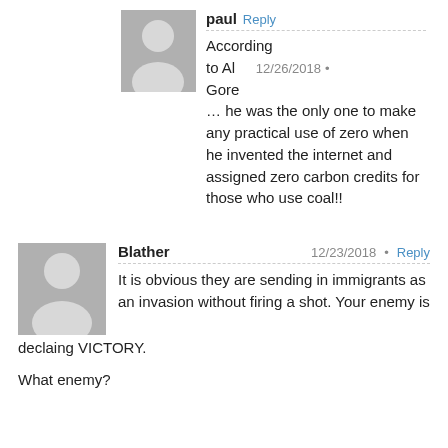paul · Reply
According to Al Gore 12/26/2018 •
… he was the only one to make any practical use of zero when he invented the internet and assigned zero carbon credits for those who use coal!!
Blather 12/23/2018 • Reply
It is obvious they are sending in immigrants as an invasion without firing a shot. Your enemy is declaing VICTORY.

What enemy?